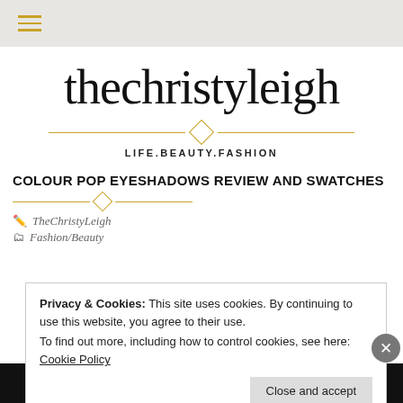≡ (hamburger menu)
thechristyleigh
LIFE.BEAUTY.FASHION
COLOUR POP EYESHADOWS REVIEW AND SWATCHES
TheChristyLeigh
Fashion/Beauty
Privacy & Cookies: This site uses cookies. By continuing to use this website, you agree to their use.
To find out more, including how to control cookies, see here: Cookie Policy
Close and accept
[Figure (photo): Advertisement banner at the bottom showing a dark background with a circular icon and green text reading 'money-making online course.']